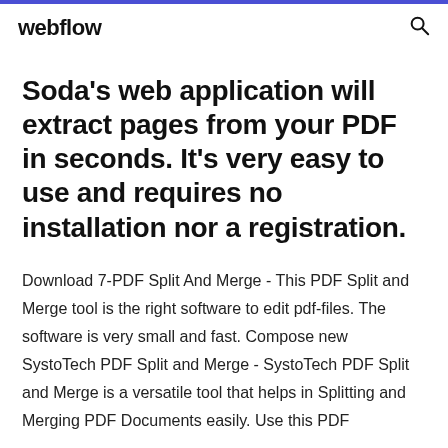webflow
Soda's web application will extract pages from your PDF in seconds. It's very easy to use and requires no installation nor a registration.
Download 7-PDF Split And Merge - This PDF Split and Merge tool is the right software to edit pdf-files. The software is very small and fast. Compose new SystoTech PDF Split and Merge - SystoTech PDF Split and Merge is a versatile tool that helps in Splitting and Merging PDF Documents easily. Use this PDF